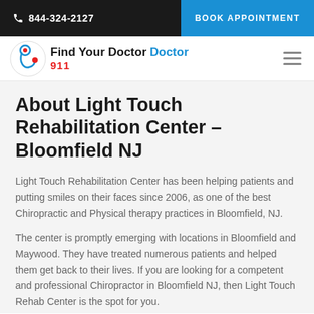📞 844-324-2127 | BOOK APPOINTMENT
[Figure (logo): Find Your Doctor 911 logo with stethoscope icon]
About Light Touch Rehabilitation Center – Bloomfield NJ
Light Touch Rehabilitation Center has been helping patients and putting smiles on their faces since 2006, as one of the best Chiropractic and Physical therapy practices in Bloomfield, NJ.
The center is promptly emerging with locations in Bloomfield and Maywood. They have treated numerous patients and helped them get back to their lives. If you are looking for a competent and professional Chiropractor in Bloomfield NJ, then Light Touch Rehab Center is the spot for you.